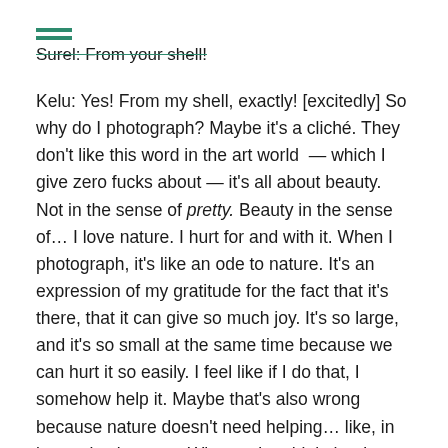Surel: From your shell!
Kelu: Yes! From my shell, exactly! [excitedly] So why do I photograph? Maybe it's a cliché. They don't like this word in the art world — which I give zero fucks about — it's all about beauty. Not in the sense of pretty. Beauty in the sense of… I love nature. I hurt for and with it. When I photograph, it's like an ode to nature. It's an expression of my gratitude for the fact that it's there, that it can give so much joy. It's so large, and it's so small at the same time because we can hurt it so easily. I feel like if I do that, I somehow help it. Maybe that's also wrong because nature doesn't need helping… like, in intergalactic terms. Who am I to think that I can help nature? That can be interpreted as being very arrogant.